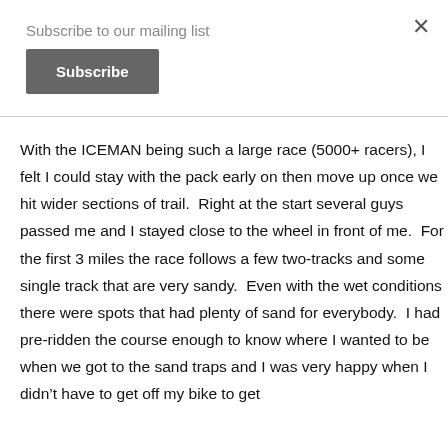Subscribe to our mailing list
Subscribe
×
With the ICEMAN being such a large race (5000+ racers), I felt I could stay with the pack early on then move up once we hit wider sections of trail.  Right at the start several guys passed me and I stayed close to the wheel in front of me.  For the first 3 miles the race follows a few two-tracks and some single track that are very sandy.  Even with the wet conditions there were spots that had plenty of sand for everybody.  I had pre-ridden the course enough to know where I wanted to be when we got to the sand traps and I was very happy when I didn't have to get off my bike to get